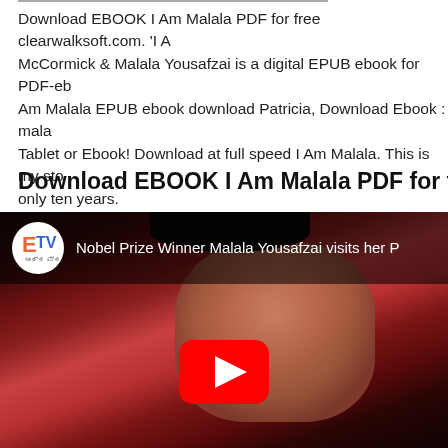Download EBOOK I Am Malala PDF for free clearwalksoft.com. 'I A McCormick & Malala Yousafzai is a digital EPUB ebook for PDF-eb Am Malala EPUB ebook download Patricia, Download Ebook : mala Tablet or Ebook! Download at full speed I Am Malala. This is my sto only ten years.
Download EBOOK I Am Malala PDF for free clearwal
[Figure (screenshot): Embedded YouTube video showing Nobel Prize Winner Malala Yousafzai visits her P... with a channel logo on the left and a red play button in the center. Malala is shown wearing a red dupatta/headscarf.]